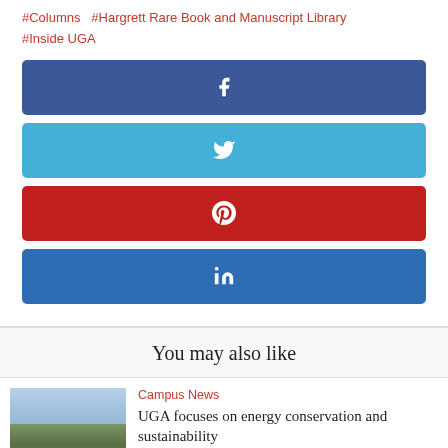#Columns  #Hargrett Rare Book and Manuscript Library  #Inside UGA
[Figure (infographic): Social share buttons: Facebook (dark blue), Twitter (light blue), Pinterest (red), LinkedIn (blue)]
You may also like
Campus News
UGA focuses on energy conservation and sustainability